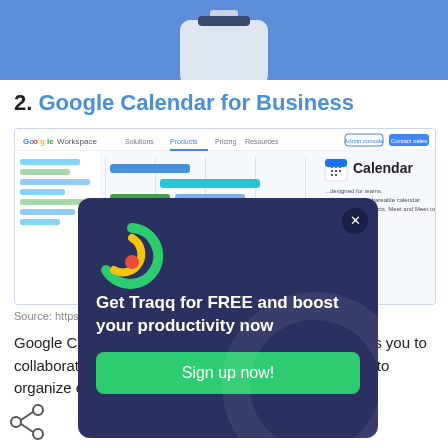[Figure (illustration): Blue background illustration showing a robot/assistant character from the torso up at the top of the page]
2. Google Calendar for Business
[Figure (screenshot): Screenshot of Google Workspace / Google Calendar product page showing a calendar interface with Gantt-style bars and the Calendar logo]
Source: https://...
Google Ca... assistant software y... events. It is a web-b... ws you to collaborat... er seamlessl... roken down into... allowing you to organize events, deadlines, and
[Figure (other): Traqq popup ad overlay showing Traqq logo, text 'Get Traqq for FREE and boost your productivity now' and a 'Sign up now!' green button with close X button]